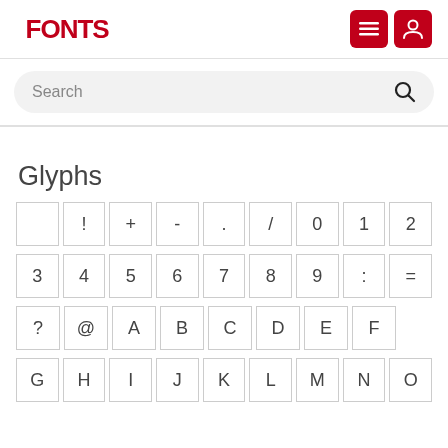FFONTS
Search
Glyphs
[Figure (other): Glyph grid showing characters: (space), !, +, -, ., /, 0, 1, 2, 3, 4, 5, 6, 7, 8, 9, :, =, ?, @, A, B, C, D, E, F, G, H, I, J, K, L, M, N, O]